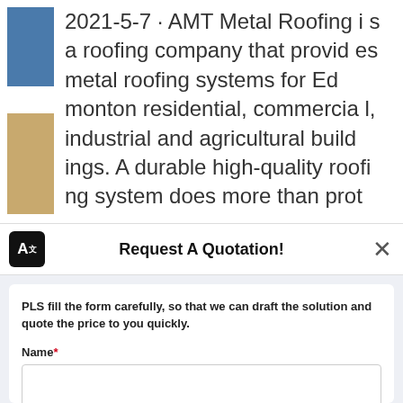[Figure (screenshot): Blue rectangular thumbnail image on upper left]
[Figure (photo): Tan/brown rectangular thumbnail image on left side]
2021-5-7 · AMT Metal Roofing is a roofing company that provides metal roofing systems for Edmonton residential, commercial, industrial and agricultural buildings. A durable high-quality roofing system does more than prot
Request A Quotation!
PLS fill the form carefully, so that we can draft the solution and quote the price to you quickly.
Name*
E-mail*